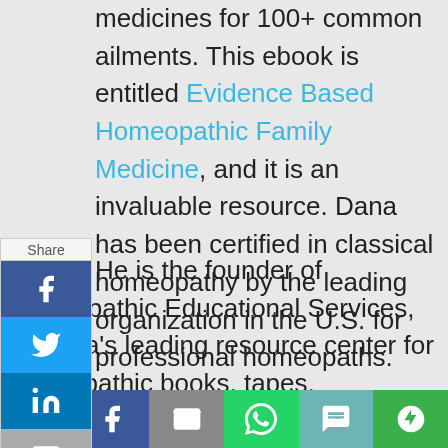medicines for 100+ common ailments. This ebook is entitled Evidence Based Homeopathic Family Medicine, and it is an invaluable resource. Dana has been certified in classical homeopathy by the leading organization in the U.S. for professional homeopaths.

He is the founder of Homeopathic Educational Services, America's leading resource center for homeopathic books, tapes, medicines, software, and correspondence courses. Homeopathic Educational Services has co-published over 35